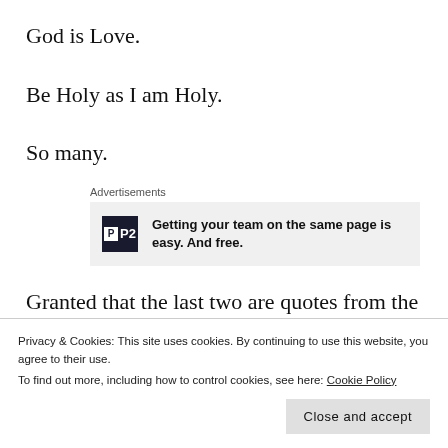God is Love.
Be Holy as I am Holy.
So many.
[Figure (other): Advertisement box with P2 logo and text: Getting your team on the same page is easy. And free.]
Granted that the last two are quotes from the Bible and
Privacy & Cookies: This site uses cookies. By continuing to use this website, you agree to their use.
To find out more, including how to control cookies, see here: Cookie Policy
Does God demand that we come to Him through the